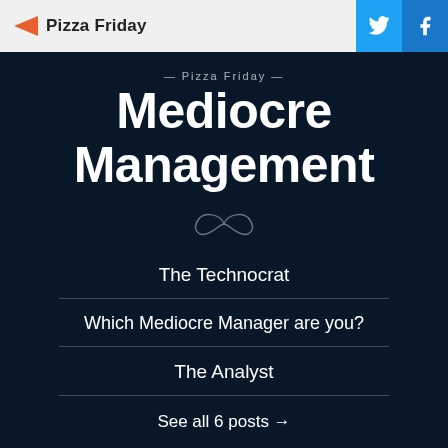Pizza Friday
— Pizza Friday —
Mediocre Management
[Figure (illustration): Infinity symbol decorative divider]
The Technocrat
Which Mediocre Manager are you?
The Analyst
See all 6 posts →